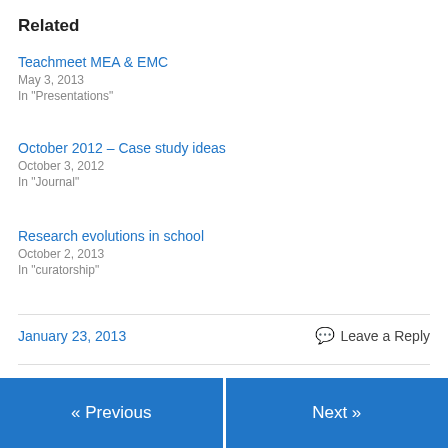Related
Teachmeet MEA & EMC
May 3, 2013
In "Presentations"
October 2012 – Case study ideas
October 3, 2012
In "Journal"
Research evolutions in school
October 2, 2013
In "curatorship"
January 23, 2013
Leave a Reply